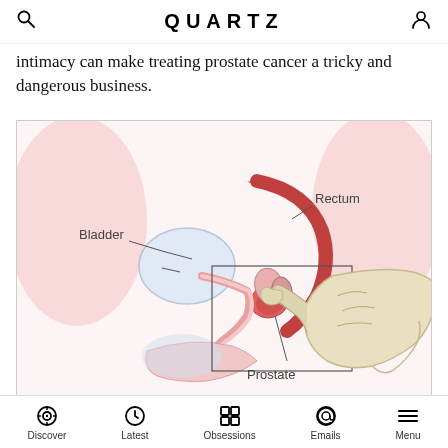QUARTZ
intimacy can make treating prostate cancer a tricky and dangerous business.
[Figure (engineering-diagram): Medical illustration showing a cross-section of male pelvic anatomy with labels for Bladder, Rectum, and Prostate. A gloved hand is shown performing a digital rectal exam. A rectangular box highlights the prostate region. Lines point from labels to the respective anatomical structures.]
Discover  Latest  Obsessions  Emails  Menu